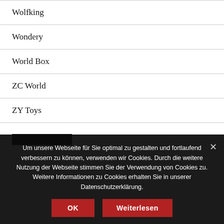Wolfking
Wondery
World Box
ZC World
ZY Toys
Um unsere Webseite für Sie optimal zu gestalten und fortlaufend verbessern zu können, verwenden wir Cookies. Durch die weitere Nutzung der Webseite stimmen Sie der Verwendung von Cookies zu. Weitere Informationen zu Cookies erhalten Sie in unserer Datenschutzerklärung.
OK   Weiterlesen